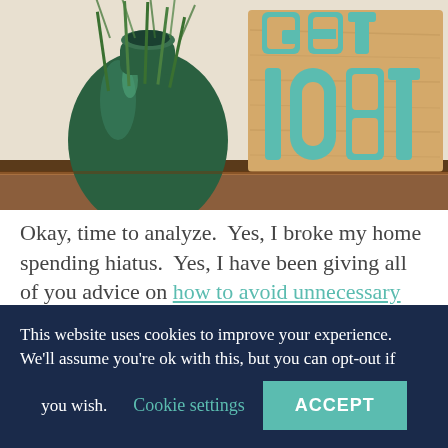[Figure (photo): A decorative shelf scene with a dark green glass vase/bottle and a wooden sign with teal cut-out letters reading 'get lost', photographed from below showing a warm wood shelf.]
Okay, time to analyze.  Yes, I broke my home spending hiatus.  Yes, I have been giving all of you advice on how to avoid unnecessary
This website uses cookies to improve your experience. We'll assume you're ok with this, but you can opt-out if you wish.  Cookie settings  ACCEPT